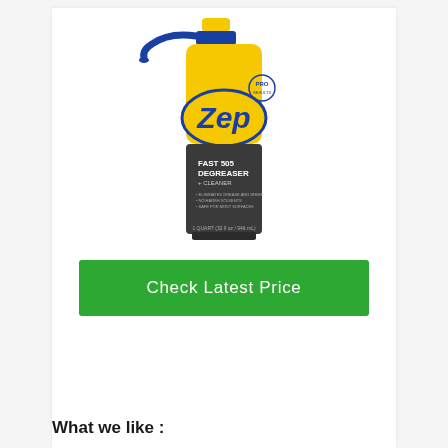[Figure (photo): Zep Fast 505 Degreaser + Cleaner spray bottle with yellow top and blue trigger, yellow and dark label with Zep logo]
Check Latest Price
What we like :